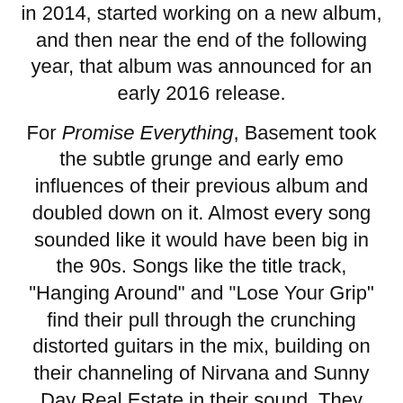in 2014, started working on a new album, and then near the end of the following year, that album was announced for an early 2016 release.
For Promise Everything, Basement took the subtle grunge and early emo influences of their previous album and doubled down on it. Almost every song sounded like it would have been big in the 90s. Songs like the title track, "Hanging Around" and "Lose Your Grip" find their pull through the crunching distorted guitars in the mix, building on their channeling of Nirvana and Sunny Day Real Estate in their sound. They also tried their hand at more melodic rock than their previous albums, allowing the band to deliver certified alt-rock anthems like "Aquasun", a minor M4B genre breakthrough in 2016 that was the #1 song of DJ Michael's personal chart, the Burner 50, for that year.
The ascendant star Basement never achieved in 2012 did come with Promise Everything, which got the attention of the pop punk and alt rock institution Fueled By Ramen. The band signed with them a year after the album came out and re-released it with a couple of bonus tracks. It would pave the way for upcoming announcements with their 2018 album...